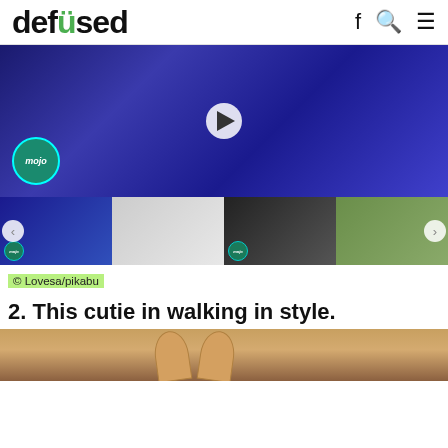defused
[Figure (screenshot): Video player showing a blue-tinted person screaming with WatchMojo mojo badge overlay and play button]
[Figure (screenshot): Row of four video thumbnails with navigation arrows on sides]
© Lovesa/pikabu
2. This cutie in walking in style.
[Figure (photo): Top of a dog or cat's ears and head visible at bottom of page]